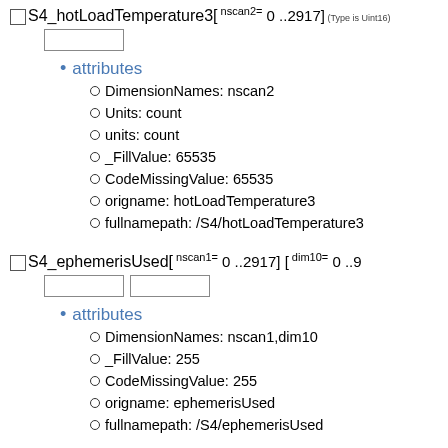S4_hotLoadTemperature3[ nscan2= 0 ..2917] (Type is Uint16)
attributes
DimensionNames: nscan2
Units: count
units: count
_FillValue: 65535
CodeMissingValue: 65535
origname: hotLoadTemperature3
fullnamepath: /S4/hotLoadTemperature3
S4_ephemerisUsed[ nscan1= 0 ..2917] [ dim10= 0 ..9
attributes
DimensionNames: nscan1,dim10
_FillValue: 255
CodeMissingValue: 255
origname: ephemerisUsed
fullnamepath: /S4/ephemerisUsed
S4_Latitude[ nscan2= 0 ..2917] (Type is Float32)